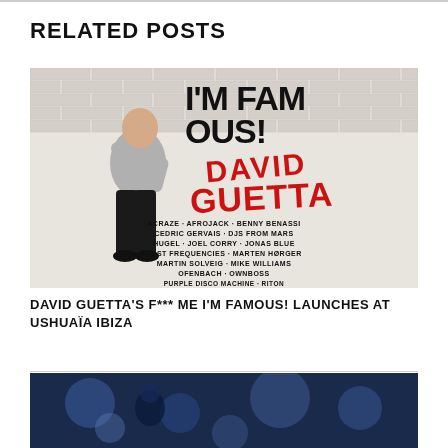RELATED POSTS
[Figure (photo): David Guetta F*** Me I'm Famous! event poster. Shows man in grey sweater against brick wall with text 'I'M FAMOUS!' in large black letters and 'DAVID GUETTA' in large red graffiti letters. Below lists DJs: ACRAZE · AFROJACK · BENNY BENASSI, CEDRIC GERVAIS · DJS FROM MARS, HUGEL · JOEL CORRY · JONAS BLUE, LOST FREQUENCIES · MARTEN HØRGER, MARTIN SOLVEIG · MIKE WILLIAMS, OFENBACH · OWNBOSS, PURPLE DISCO MACHINE · RITON, ROBIN SCHULZ · SHOUSE · SIGALA]
DAVID GUETTA'S F*** ME I'M FAMOUS! LAUNCHES AT USHUAÏA IBIZA
[Figure (photo): Partial view of a blue-tinted photo, appears to be a person or performer with disco ball or light effects]